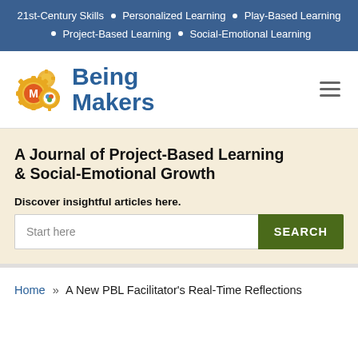21st-Century Skills • Personalized Learning • Play-Based Learning • Project-Based Learning • Social-Emotional Learning
[Figure (logo): Being Makers logo with gear icons and colorful emblems, blue bold text reading 'Being Makers']
A Journal of Project-Based Learning & Social-Emotional Growth
Discover insightful articles here.
Start here [search input] SEARCH
Home » A New PBL Facilitator's Real-Time Reflections